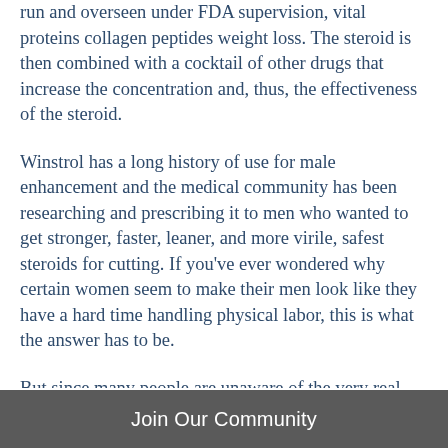run and overseen under FDA supervision, vital proteins collagen peptides weight loss. The steroid is then combined with a cocktail of other drugs that increase the concentration and, thus, the effectiveness of the steroid.
Winstrol has a long history of use for male enhancement and the medical community has been researching and prescribing it to men who wanted to get stronger, faster, leaner, and more virile, safest steroids for cutting. If you've ever wondered why certain women seem to make their men look like they have a hard time handling physical labor, this is what the answer has to be.
But since many people are unaware of the very real side effects of Winstrol, we're going to talk about the very real side effects of
Join Our Community